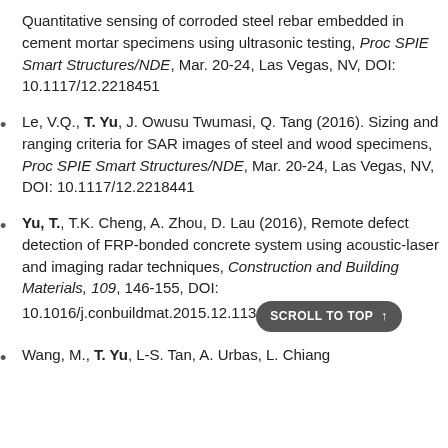Quantitative sensing of corroded steel rebar embedded in cement mortar specimens using ultrasonic testing, Proc SPIE Smart Structures/NDE, Mar. 20-24, Las Vegas, NV, DOI: 10.1117/12.2218451
Le, V.Q., T. Yu, J. Owusu Twumasi, Q. Tang (2016). Sizing and ranging criteria for SAR images of steel and wood specimens, Proc SPIE Smart Structures/NDE, Mar. 20-24, Las Vegas, NV, DOI: 10.1117/12.2218441
Yu, T., T.K. Cheng, A. Zhou, D. Lau (2016), Remote defect detection of FRP-bonded concrete system using acoustic-laser and imaging radar techniques, Construction and Building Materials, 109, 146-155, DOI: 10.1016/j.conbuildmat.2015.12.113
Wang, M., T. Yu, L-S. Tan, A. Urbas, L. Chiang